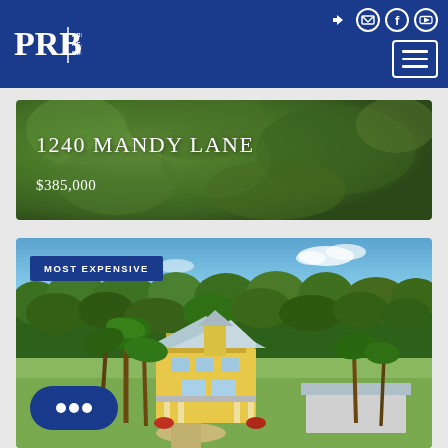PRB Preferred Real Estate Brokers
1240 MANDY LANE
$385,000
[Figure (photo): Aerial view of lush green vegetation/foliage for property at 1240 Mandy Lane]
[Figure (photo): Aerial photo of a yellow two-story house with palm trees and outbuildings surrounded by green trees, labeled MOST EXPENSIVE]
MOST EXPENSIVE